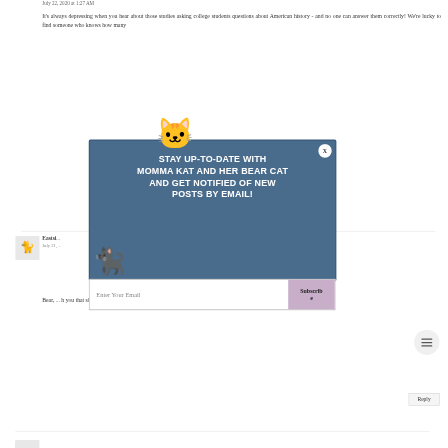July 22, 2020 at 1:27 AM
It's always depressing when you hear about those studies asking college students questions about American history - and no one can answer them correctly! We're lucky to find someone who knows how many
[Figure (infographic): Email subscription popup overlay with blue/steel background showing 'STAY UP-TO-DATE WITH MOMMA KAT AND HER BEAR CAT AND GET NOTIFIED OF NEW POSTS BY EMAIL!' in bold white uppercase text. A cartoon tabby cat peeks from the top, and a black cat image sits at bottom left. Has an X close button top right. Below is an email input field with 'Enter Your Email' placeholder and a 'Subscribe' button in mauve/pink.]
Eastsi...
July 21, ...
Bear, ... h you that she's oppressed, but it's not her country that do... it's those two rascally cats who co-habitat with...